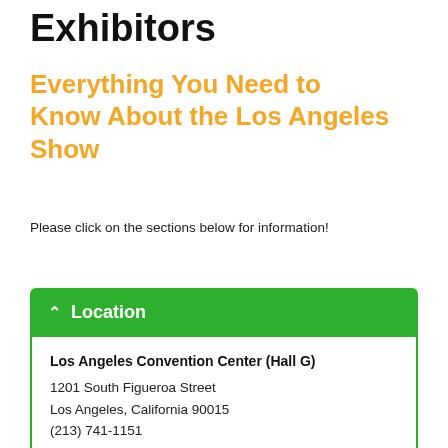Exhibitors
Everything You Need to Know About the Los Angeles Show
Please click on the sections below for information!
Location
Los Angeles Convention Center (Hall G)
1201 South Figueroa Street
Los Angeles, California 90015
(213) 741-1151